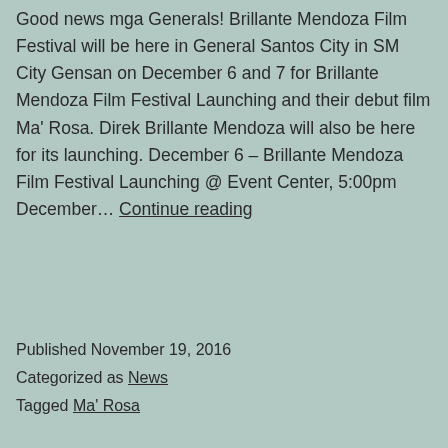Good news mga Generals! Brillante Mendoza Film Festival will be here in General Santos City in SM City Gensan on December 6 and 7 for Brillante Mendoza Film Festival Launching and their debut film Ma' Rosa. Direk Brillante Mendoza will also be here for its launching. December 6 – Brillante Mendoza Film Festival Launching @ Event Center, 5:00pm December… Continue reading
Published November 19, 2016
Categorized as News
Tagged Ma' Rosa